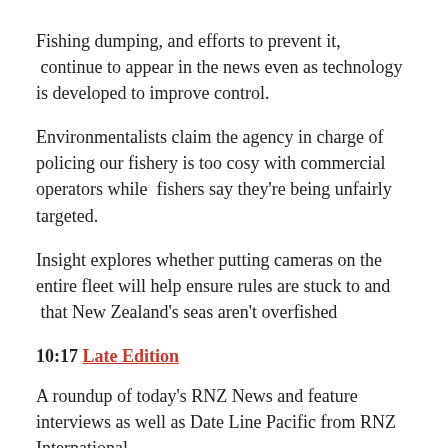Fishing dumping, and efforts to prevent it, continue to appear in the news even as technology is developed to improve control.
Environmentalists claim the agency in charge of policing our fishery is too cosy with commercial operators while fishers say they're being unfairly targeted.
Insight explores whether putting cameras on the entire fleet will help ensure rules are stuck to and that New Zealand's seas aren't overfished
10:17 Late Edition
A roundup of today's RNZ News and feature interviews as well as Date Line Pacific from RNZ International.
11:07 Nashville Babylon